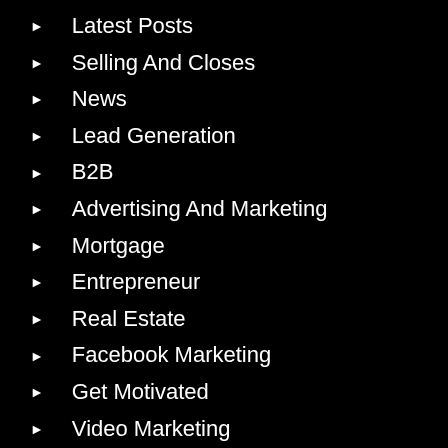Latest Posts
Selling And Closes
News
Lead Generation
B2B
Advertising And Marketing
Mortgage
Entrepreneur
Real Estate
Facebook Marketing
Get Motivated
Video Marketing